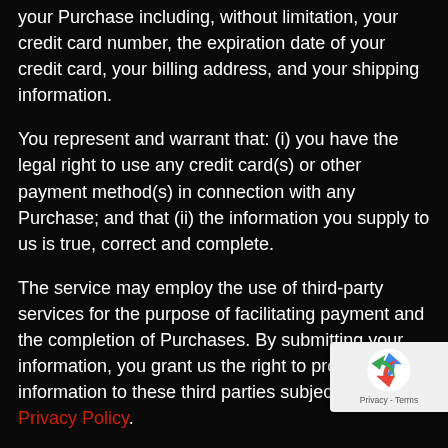your Purchase including, without limitation, your credit card number, the expiration date of your credit card, your billing address, and your shipping information.
You represent and warrant that: (i) you have the legal right to use any credit card(s) or other payment method(s) in connection with any Purchase; and that (ii) the information you supply to us is true, correct and complete.
The service may employ the use of third-party services for the purpose of facilitating payment and the completion of Purchases. By submitting your information, you grant us the right to provide the information to these third parties subject to our Privacy Policy.
We reserve the right to refuse or cancel your order at any time for reasons including but not limited to: product or service availability, errors in the description or price of the product or service, error in your order
[Figure (other): reCAPTCHA badge with logo showing arrows forming a circle, and 'Privacy - Terms' text below]